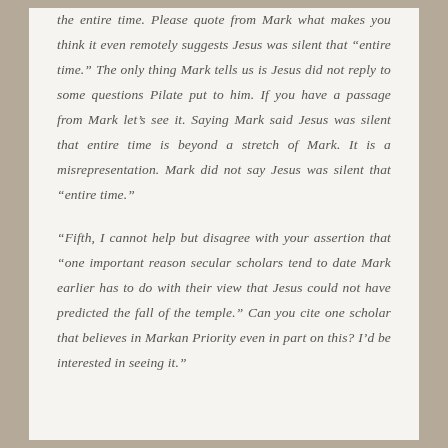the entire time. Please quote from Mark what makes you think it even remotely suggests Jesus was silent that “entire time.” The only thing Mark tells us is Jesus did not reply to some questions Pilate put to him. If you have a passage from Mark let’s see it. Saying Mark said Jesus was silent that entire time is beyond a stretch of Mark. It is a misrepresentation. Mark did not say Jesus was silent that “entire time.”
“Fifth, I cannot help but disagree with your assertion that “one important reason secular scholars tend to date Mark earlier has to do with their view that Jesus could not have predicted the fall of the temple.” Can you cite one scholar that believes in Markan Priority even in part on this? I’d be interested in seeing it.”